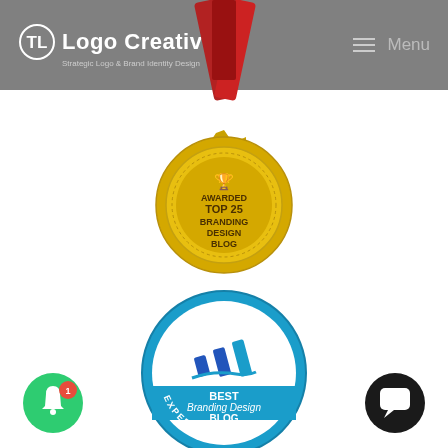Logo Creative. Strategic Logo & Brand Identity Design | Menu
[Figure (illustration): Gold award medal badge with red ribbon reading 'AWARDED TOP 25 BRANDING DESIGN BLOG']
[Figure (logo): Blue circular Expertido.org badge reading 'BEST Branding Design BLOG EXPERTIDO.ORG']
[Figure (illustration): Green notification bell button with red badge showing count 1]
[Figure (illustration): Black circular chat/comment button]